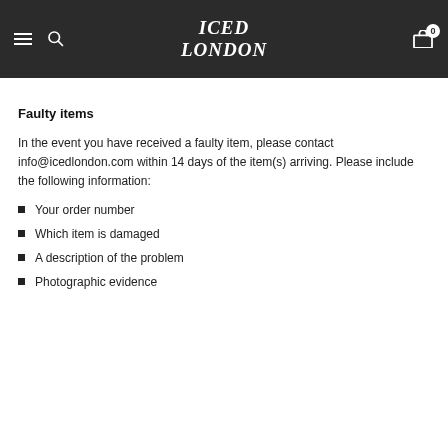ICED LONDON
Faulty items
In the event you have received a faulty item, please contact info@icedlondon.com within 14 days of the item(s) arriving. Please include the following information:
Your order number
Which item is damaged
A description of the problem
Photographic evidence